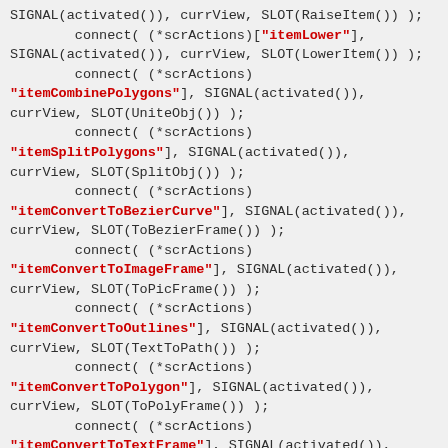Code snippet showing Qt signal-slot connections for scribus actions including itemLower, itemCombinePolygons, itemSplitPolygons, itemConvertToBezierCurve, itemConvertToImageFrame, itemConvertToOutlines, itemConvertToPolygon, itemConvertToTextFrame, itemAttachTextToPath